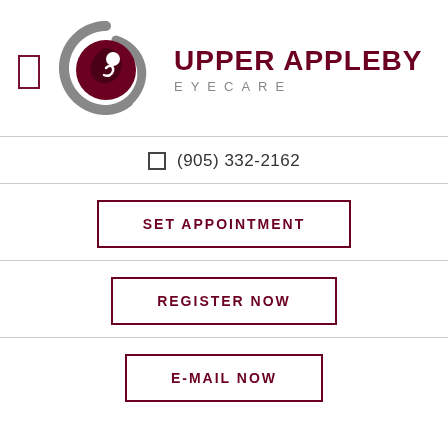[Figure (logo): Upper Appleby Eyecare logo: circular eye graphic with grey and dark red swirls, accompanied by bold dark red text 'UPPER APPLEBY' and grey spaced text 'EYECARE']
☎ (905) 332-2162
SET APPOINTMENT
REGISTER NOW
E-MAIL NOW